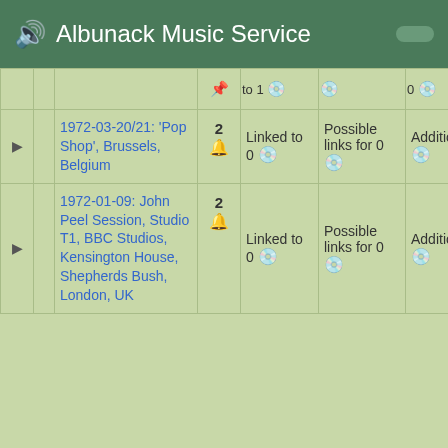🔊 Albunack Music Service
|  |  | Title | Num | Linked | Possible links | Additional |
| --- | --- | --- | --- | --- | --- | --- |
| ▶ |  | 1972-03-20/21: 'Pop Shop', Brussels, Belgium | 2 🔔 | Linked to 0 💿 | Possible links for 0 💿 | Additional 0 💿 |
| ▶ |  | 1972-01-09: John Peel Session, Studio T1, BBC Studios, Kensington House, Shepherds Bush, London, UK | 2 🔔 | Linked to 0 💿 | Possible links for 0 💿 | Additional 0 💿 |